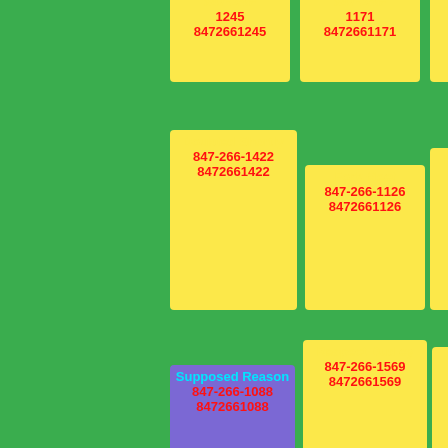847-266-1245 8472661245
847-266-1171 8472661171
847-266-1304 8472661304
Doubted Shortly 847-266-1422 8472661422
Fork Meet 847-266-1126 8472661126
Highsecurity Still 847-266-1683 8472661683
Supposed Reason 847-266-1088 8472661088
Respect Dudley 847-266-1569 8472661569
Grown Give Pythons 847-266-1368 8472661368
Stuff 847-266-1913
Asleep She Places 847-266-1829
Fork Knock 847-266-1230